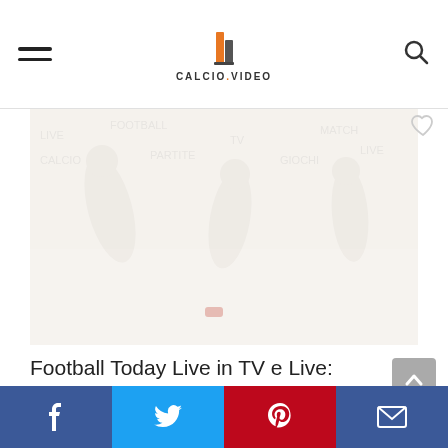CALCIO.VIDEO
[Figure (photo): Faded/washed-out photo of football players in action, very light overlay]
Football Today Live in TV e Live: trasmissioni, giochi, partite
Social share bar: Facebook, Twitter, Pinterest, Email